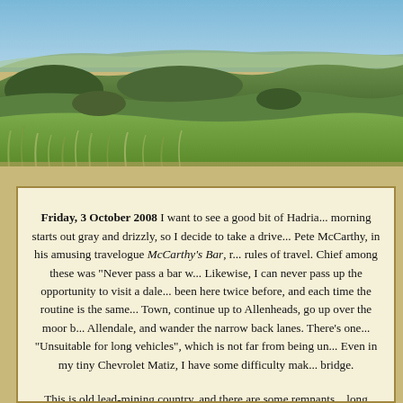[Figure (photo): Panoramic landscape photo showing rolling green hills and moorland under a blue sky, with grass in the foreground and gentle hills in the background.]
Friday, 3 October 2008 I want to see a good bit of Hadria... morning starts out gray and drizzly, so I decide to take a drive... Pete McCarthy, in his amusing travelogue McCarthy's Bar, r... rules of travel. Chief among these was "Never pass a bar w... Likewise, I can never pass up the opportunity to visit a dale... been here twice before, and each time the routine is the same... Town, continue up to Allenheads, go up over the moor b... Allendale, and wander the narrow back lanes. There's one... "Unsuitable for long vehicles", which is not far from being un... Even in my tiny Chevrolet Matiz, I have some difficulty mak... bridge.
This is old lead-mining country, and there are some remnants... long stone chimneys running up the hillside, designed to cha... smelters down in the valley bottom to the moors high a... sure, contemporary descriptions I've read of the Yorkshire...